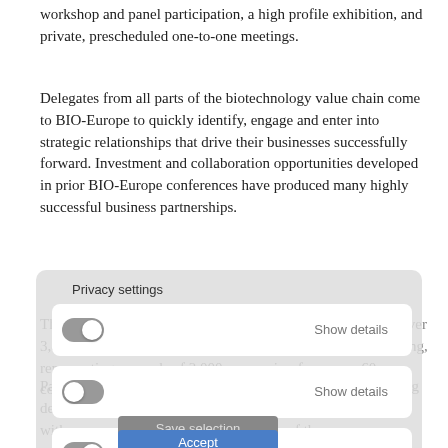workshop and panel participation, a high profile exhibition, and private, prescheduled one-to-one meetings.
Delegates from all parts of the biotechnology value chain come to BIO-Europe to quickly identify, engage and enter into strategic relationships that drive their businesses successfully forward. Investment and collaboration opportunities developed in prior BIO-Europe conferences have produced many highly successful business partnerships.
The BIO-Europe 2017 partnering event is expected to draw over 3,800 industry attendees for three days of high level networking, representing upwards of 2,000 companies, from over 60 countries.
Partnering as an overall business strategy has transformed drug development in bringing together innovators and visionaries with seasoned experts from every corner of the